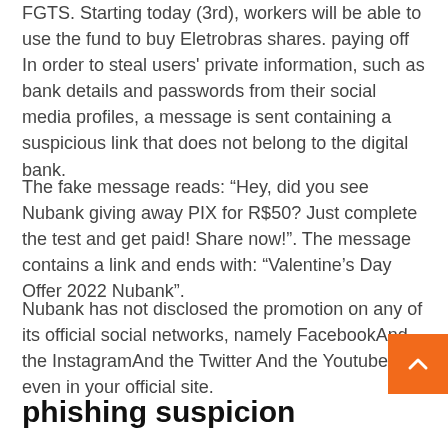FGTS. Starting today (3rd), workers will be able to use the fund to buy Eletrobras shares. paying off In order to steal users' private information, such as bank details and passwords from their social media profiles, a message is sent containing a suspicious link that does not belong to the digital bank.
The fake message reads: “Hey, did you see Nubank giving away PIX for R$50? Just complete the test and get paid! Share now!”. The message contains a link and ends with: “Valentine’s Day Offer 2022 Nubank”.
Nubank has not disclosed the promotion on any of its official social networks, namely FacebookAnd the InstagramAnd the Twitter And the Youtubenot even in your official site.
phishing suspicion